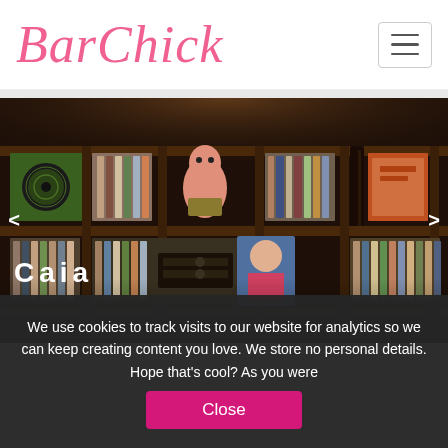BarChick
[Figure (photo): A wooden shelving unit filled with vinyl records and music albums arranged in rows, with a guitar neck visible and a figure wearing a grass skirt among the records. Photo shows interior of a bar or record shop.]
Caia
We use cookies to track visits to our website for analytics so we can keep creating content you love. We store no personal details. Hope that’s cool? As you were   Close